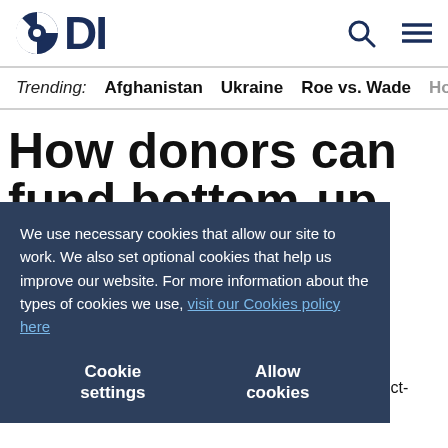ODI
Trending: Afghanistan   Ukraine   Roe vs. Wade   Horn of Af
How donors can fund bottom-up peacebuilding
Craig Valters
We use necessary cookies that allow our site to work. We also set optional cookies that help us improve our website. For more information about the types of cookies we use, visit our Cookies policy here
Cookie settings   Allow cookies
If we look at cash flows alone, the UK Aid Strategy suggests that donors have a large role to play in conflict-affected countries.